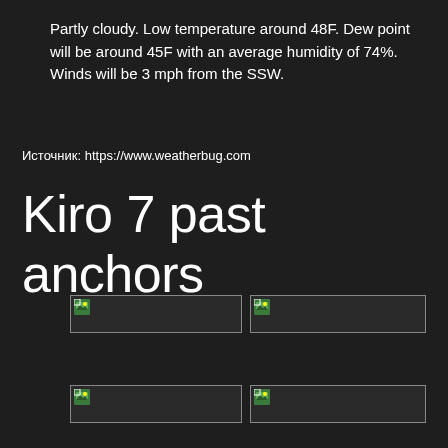Partly cloudy. Low temperature around 48F. Dew point will be around 45F with an average humidity of 74%. Winds will be 3 mph from the SSW.
Источник: https://www.weatherbug.com
Kiro 7 past anchors
[Figure (photo): Broken image placeholder 1 of 4]
[Figure (photo): Broken image placeholder 2 of 4]
[Figure (photo): Broken image placeholder 3 of 4]
[Figure (photo): Broken image placeholder 4 of 4]